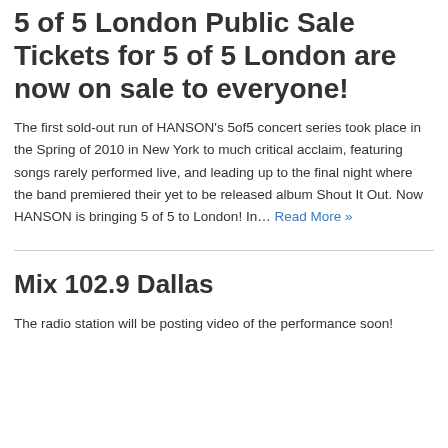5 of 5 London Public Sale Tickets for 5 of 5 London are now on sale to everyone!
The first sold-out run of HANSON's 5of5 concert series took place in the Spring of 2010 in New York to much critical acclaim, featuring songs rarely performed live, and leading up to the final night where the band premiered their yet to be released album Shout It Out. Now HANSON is bringing 5 of 5 to London! In… Read More »
Mix 102.9 Dallas
The radio station will be posting video of the performance soon!